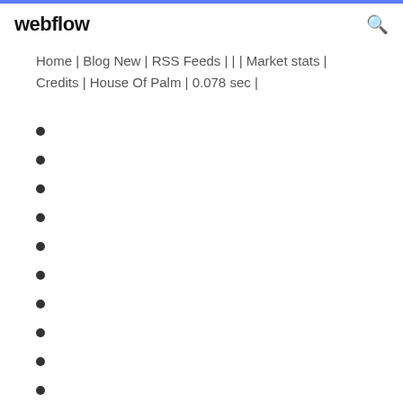webflow
Home | Blog New | RSS Feeds | | | Market stats | Credits | House Of Palm | 0.078 sec |